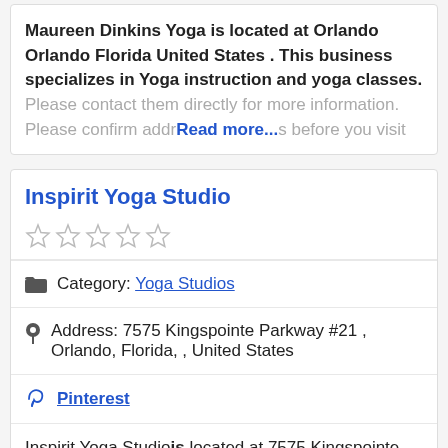Maureen Dinkins Yoga is located at Orlando Orlando Florida United States . This business specializes in Yoga instruction and yoga classes. Please contact them directly for more information. Please confirm address hours before you visit
Inspirit Yoga Studio
Category: Yoga Studios
Address: 7575 Kingspointe Parkway #21 , Orlando, Florida, , United States
Pinterest
Inspirit Yoga Studiois located at 7575 Kingspointe Parkway #21 Orlando Florida United States . This business specializes in Yoga instruction and yoga